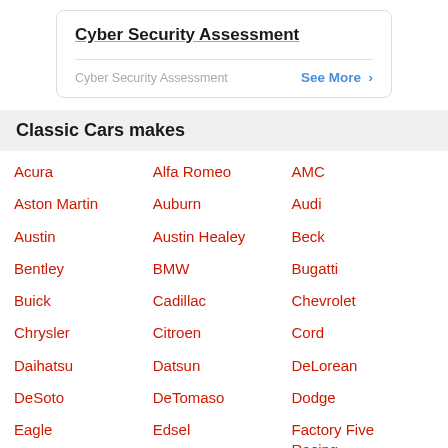Cyber Security Assessment
Cyber Security Assessment   See More >
Classic Cars makes
Acura
Alfa Romeo
AMC
Aston Martin
Auburn
Audi
Austin
Austin Healey
Beck
Bentley
BMW
Bugatti
Buick
Cadillac
Chevrolet
Chrysler
Citroen
Cord
Daihatsu
Datsun
DeLorean
DeSoto
DeTomaso
Dodge
Eagle
Edsel
Factory Five Racing
Ferrari
Fiat
Ford